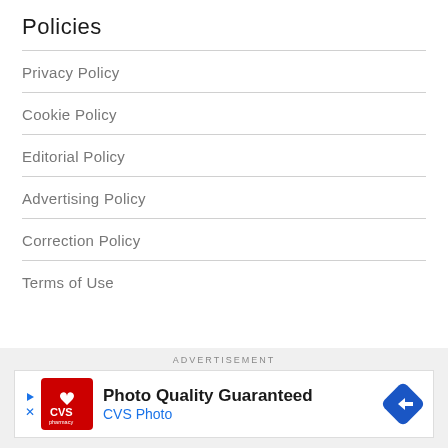Policies
Privacy Policy
Cookie Policy
Editorial Policy
Advertising Policy
Correction Policy
Terms of Use
ADVERTISEMENT
[Figure (other): CVS Pharmacy advertisement banner: 'Photo Quality Guaranteed — CVS Photo' with CVS logo and navigation arrow icon]